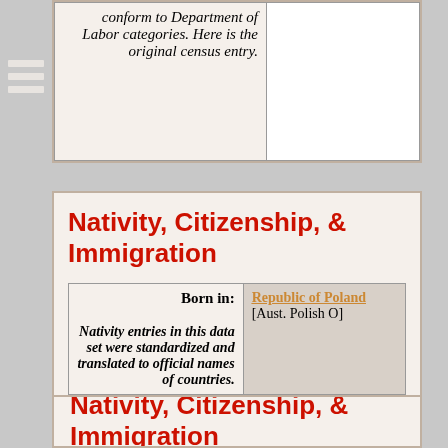| conform to Department of Labor categories. Here is the original census entry. |  |
Nativity, Citizenship, & Immigration
| Born in: |  |
| --- | --- |
| Nativity entries in this data set were standardized and translated to official names of countries. | Republic of Poland [Aust. Polish O] |